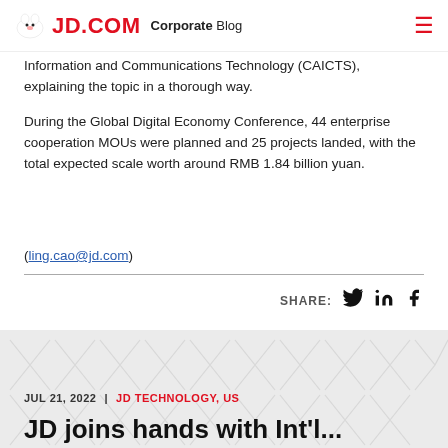JD.COM Corporate Blog
Information and Communications Technology (CAICTS), explaining the topic in a thorough way.
During the Global Digital Economy Conference, 44 enterprise cooperation MOUs were planned and 25 projects landed, with the total expected scale worth around RMB 1.84 billion yuan.
(ling.cao@jd.com)
SHARE:
JUL 21, 2022 | JD TECHNOLOGY, US
JD joins hands with Int'l...